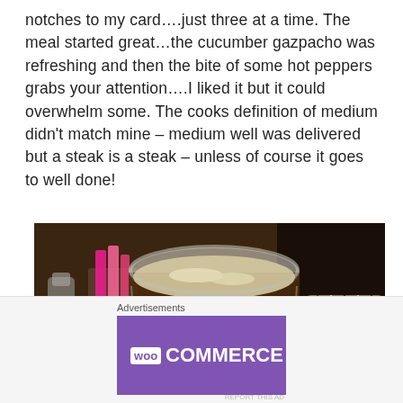notches to my card....just three at a time. The meal started great...the cucumber gazpacho was refreshing and then the bite of some hot peppers grabs your attention....I liked it but it could overwhelm some. The cooks definition of medium didn't match mine – medium well was delivered but a steak is a steak – unless of course it goes to well done!
[Figure (photo): Photo of a glass mug of dark beer with foam on top, sitting on a table. Behind it is a holder with pink sugar packets and a dark woven basket on the right.]
Advertisements
[Figure (other): WooCommerce advertisement banner: purple left side with WooCommerce logo and teal arrow, white right side with text 'How to start selling subscriptions online' and orange/teal decorative shapes.]